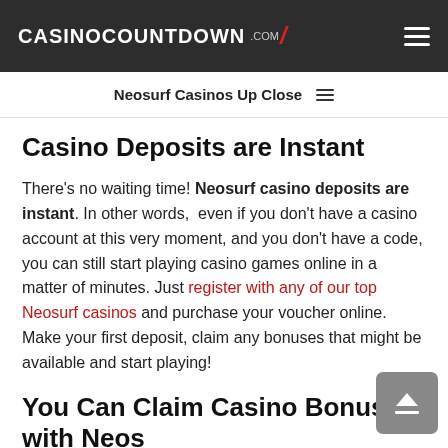CASINOCOUNTDOWN .COM
Neosurf Casinos Up Close
Casino Deposits are Instant
There's no waiting time! Neosurf casino deposits are instant. In other words,  even if you don't have a casino account at this very moment, and you don't have a code, you can still start playing casino games online in a matter of minutes. Just register with any of our top Neosurf casinos and purchase your voucher online. Make your first deposit, claim any bonuses that might be available and start playing!
You Can Claim Casino Bonuses with Neos
Unlike a lot of other payment options, Neosurf casino